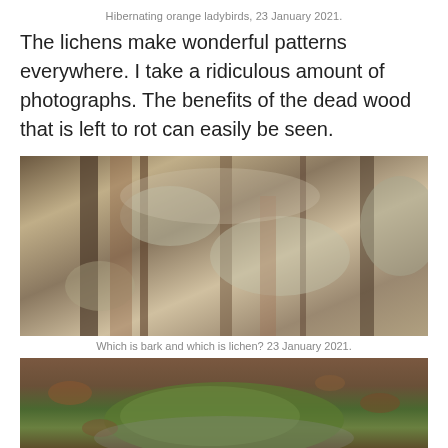Hibernating orange ladybirds, 23 January 2021.
The lichens make wonderful patterns everywhere. I take a ridiculous amount of photographs. The benefits of the dead wood that is left to rot can easily be seen.
[Figure (photo): Close-up photograph of tree bark covered with lichen, showing textures of grey, beige, and brown peeling bark with lichen patches, 23 January 2021.]
Which is bark and which is lichen? 23 January 2021.
[Figure (photo): Photograph of a moss-covered rock on a forest floor surrounded by dead leaves and twigs.]